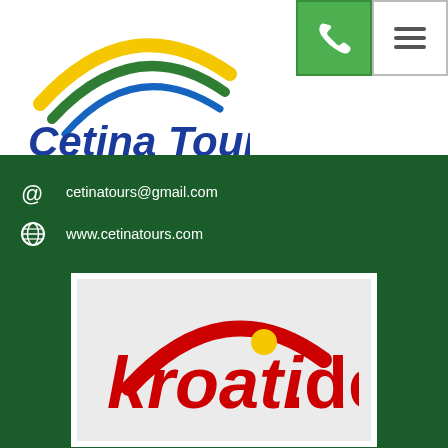[Figure (logo): Cetina Tours logo with yellow and green arched swooshes above blue bold text 'Cetina Tours']
[Figure (logo): Green phone button icon in green square]
[Figure (logo): Hamburger menu icon in white square]
cetinatours@gmail.com
www.cetinatours.com
[Figure (logo): kroati.de logo in red italic bold font with yellow dot above the letter i, on light grey background]